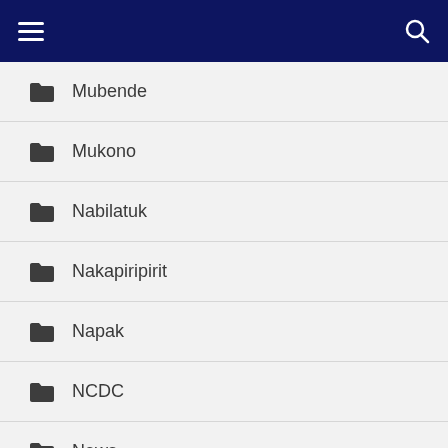Navigation menu with hamburger icon and search icon
Mubende
Mukono
Nabilatuk
Nakapiripirit
Napak
NCDC
News
Oyam
P7 Primary Seven
Physics
Practicals